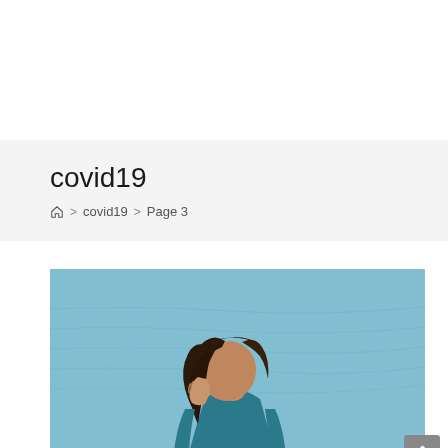covid19
🏠 > covid19 > Page 3
[Figure (photo): A woman with dark hair bowing her head, covering her face with her hand, wearing a teal/blue jacket, photographed outdoors against a blue water background. The image conveys distress or sadness.]